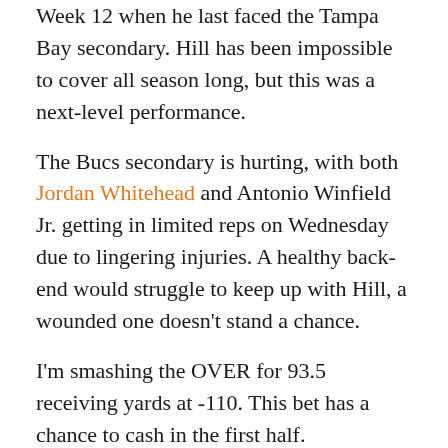Week 12 when he last faced the Tampa Bay secondary. Hill has been impossible to cover all season long, but this was a next-level performance.
The Bucs secondary is hurting, with both Jordan Whitehead and Antonio Winfield Jr. getting in limited reps on Wednesday due to lingering injuries. A healthy back-end would struggle to keep up with Hill, a wounded one doesn't stand a chance.
I'm smashing the OVER for 93.5 receiving yards at -110. This bet has a chance to cash in the first half.
Mecole Hardman, FLEX, Kansas City Chiefs: $5,600
Speed kills and Mecole Hardman has speed for days and days. The Chiefs have utilized Hardman's speed, running him in motion for jet sweeps in both the Divisional and